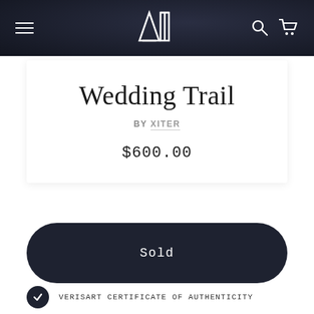ADT — navigation header with menu, logo, search, cart
Wedding Trail
BY XITER
$600.00
Sold
VERISART CERTIFICATE OF AUTHENTICITY